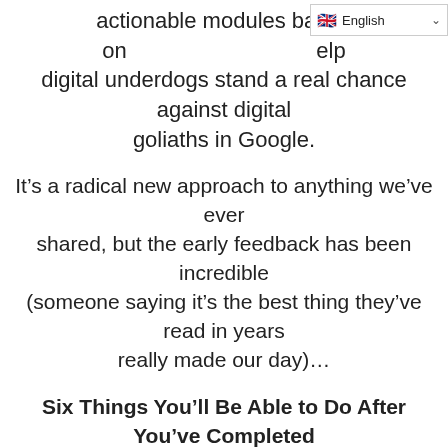actionable modules based on [English language selector] elp digital underdogs stand a real chance against digital goliaths in Google.
It’s a radical new approach to anything we’ve ever shared, but the early feedback has been incredible (someone saying it’s the best thing they’ve read in years really made our day)…
Six Things You’ll Be Able to Do After You’ve Completed the Training
Our entire training is designed to get you actionable results
Find issues with any website – even those with in-house